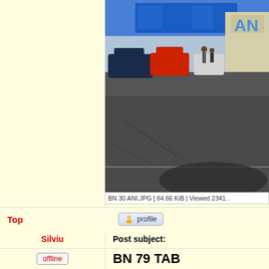[Figure (photo): Outdoor parking lot scene with cars including a dark sedan, red car, and a large truck/bus with 'AN' lettering visible on its side. People are visible in the background near blue containers/buildings.]
BN 30 ANI.JPG [ 84.66 KiB | Viewed 2341...
Top
profile
Silviu
Post subject:
offline
BN 79 TAB